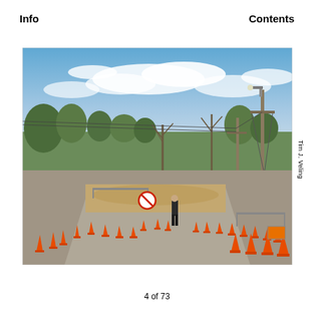Info
Contents
[Figure (photo): Photograph of a road construction scene with many orange traffic cones on a street, a lone person in dark clothing standing in the middle of the road, utility poles and power lines visible, trees and shrubs in the background, and a blue sky with white clouds above.]
Tim J. Veling
4 of 73